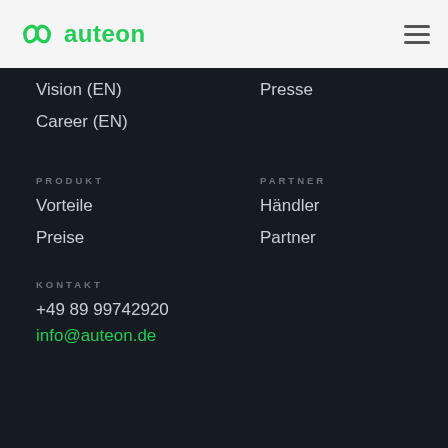auteon
Vision (EN)
Presse
Career (EN)
PRODUKT
PARTNER
Vorteile
Händler
Preise
Partner
KONTAKT
+49 89 99742920
info@auteon.de